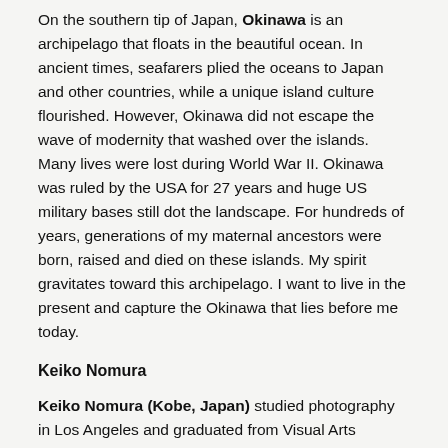On the southern tip of Japan, Okinawa is an archipelago that floats in the beautiful ocean. In ancient times, seafarers plied the oceans to Japan and other countries, while a unique island culture flourished. However, Okinawa did not escape the wave of modernity that washed over the islands. Many lives were lost during World War II. Okinawa was ruled by the USA for 27 years and huge US military bases still dot the landscape. For hundreds of years, generations of my maternal ancestors were born, raised and died on these islands. My spirit gravitates toward this archipelago. I want to live in the present and capture the Okinawa that lies before me today.
Keiko Nomura
Keiko Nomura (Kobe, Japan) studied photography in Los Angeles and graduated from Visual Arts College Osaka. She has published 6 books. Nomura received the Newcomer's Award from the Photographic Society of Japan in 1999 and New Photographer Prize at the 16th